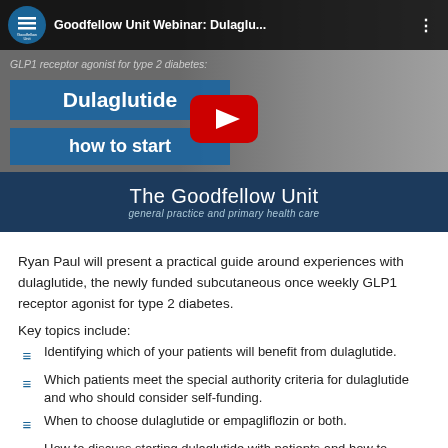[Figure (screenshot): YouTube video thumbnail for Goodfellow Unit Webinar on Dulaglutide - GLP1 receptor agonist for type 2 diabetes. Shows a man in a suit next to blue banners reading 'Dulaglutide' and 'how to start', with a red YouTube play button in the center. Bottom bar reads 'The Goodfellow Unit - general practice and primary health care'.]
Ryan Paul will present a practical guide around experiences with dulaglutide, the newly funded subcutaneous once weekly GLP1 receptor agonist for type 2 diabetes.
Key topics include:
Identifying which of your patients will benefit from dulaglutide.
Which patients meet the special authority criteria for dulaglutide and who should consider self-funding.
When to choose dulaglutide or empagliflozin or both.
How to discuss starting dulaglutide with patients and how to